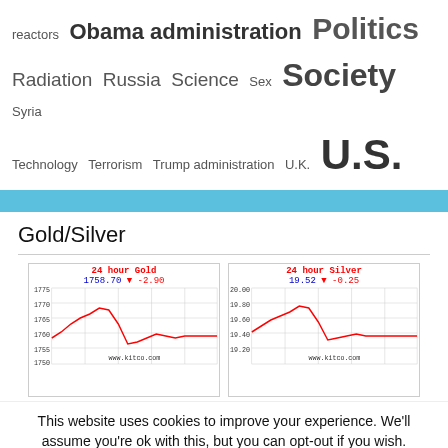reactors Obama administration Politics Radiation Russia Science Sex Society Syria Technology Terrorism Trump administration U.K. U.S.
[Figure (continuous-plot): Two side-by-side 24-hour spot price charts from www.kitco.com. Left: 24 hour Gold, price 1758.70, change -2.90 (down arrow), y-axis from 1750 to 1775. Right: 24 hour Silver, price 19.52, change -0.25 (down arrow), y-axis from 19.20 to 20.00. Both show intraday price curves in red on a white grid background.]
This website uses cookies to improve your experience. We'll assume you're ok with this, but you can opt-out if you wish.
Accept   Reject   Read More
https://infiniteunknown.net/dsgvo/